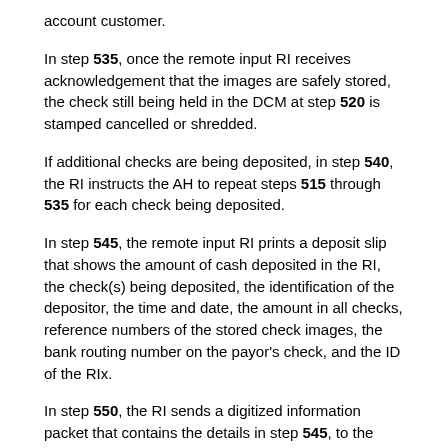account customer.
In step 535, once the remote input RI receives acknowledgement that the images are safely stored, the check still being held in the DCM at step 520 is stamped cancelled or shredded.
If additional checks are being deposited, in step 540, the RI instructs the AH to repeat steps 515 through 535 for each check being deposited.
In step 545, the remote input RI prints a deposit slip that shows the amount of cash deposited in the RI, the check(s) being deposited, the identification of the depositor, the time and date, the amount in all checks, reference numbers of the stored check images, the bank routing number on the payor's check, and the ID of the RIx.
In step 550, the RI sends a digitized information packet that contains the details in step 545, to the Financial Institution of First Deposit FD, the Receiving Account Manager RAM, and/or the Paying Account Manager PAM. In step 550, the order of communications to the various parties can vary based upon the individual needs of any